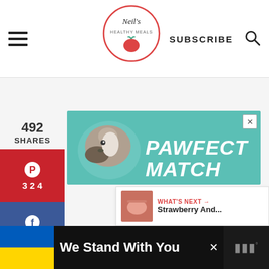Neil's Healthy Meals — SUBSCRIBE
[Figure (infographic): Pawfect Match advertisement banner with dog image on teal background]
492 SHARES
[Figure (infographic): Pinterest share button with count 324]
[Figure (infographic): Facebook share button with count 168]
[Figure (infographic): Yummly share button]
[Figure (infographic): Twitter share button]
528
WHAT'S NEXT → Strawberry And...
We Stand With You